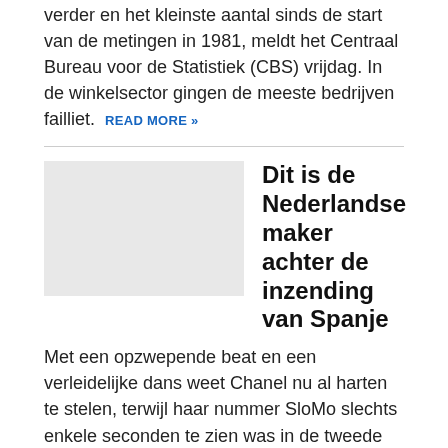verder en het kleinste aantal sinds de start van de metingen in 1981, meldt het Centraal Bureau voor de Statistiek (CBS) vrijdag. In de winkelsector gingen de meeste bedrijven failliet. READ MORE »
Dit is de Nederlandse maker achter de inzending van Spanje
Met een opzwepende beat en een verleidelijke dans weet Chanel nu al harten te stelen, terwijl haar nummer SloMo slechts enkele seconden te zien was in de tweede halve finale van het Eurovisie Songfestival. Achter de inzending van Spanje blijkt een Nederlander te zitten. Wie is deze Arjen Thonen? READ MORE »
Broadwaytheater